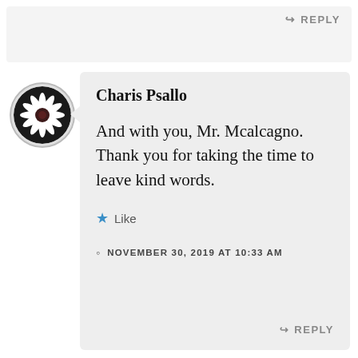↪ REPLY
[Figure (photo): Circular avatar photo of a white daisy flower with a dark center on a dark background]
Charis Psallo
And with you, Mr. Mcalcagno. Thank you for taking the time to leave kind words.
★ Like
© NOVEMBER 30, 2019 AT 10:33 AM
↪ REPLY